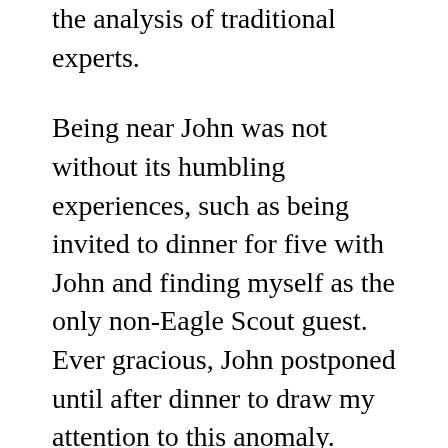the analysis of traditional experts.
Being near John was not without its humbling experiences, such as being invited to dinner for five with John and finding myself as the only non-Eagle Scout guest. Ever gracious, John postponed until after dinner to draw my attention to this anomaly.
My last meeting with John was at his home a week before his death. He was impeccably dressed and unmarked by illness. He said the doctors had told him he had cancer and perhaps a short time